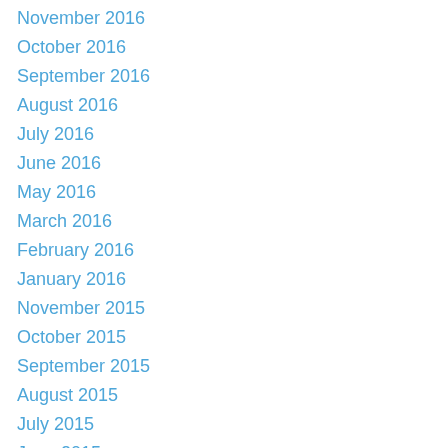November 2016
October 2016
September 2016
August 2016
July 2016
June 2016
May 2016
March 2016
February 2016
January 2016
November 2015
October 2015
September 2015
August 2015
July 2015
June 2015
May 2015
April 2015
March 2015
November 2014